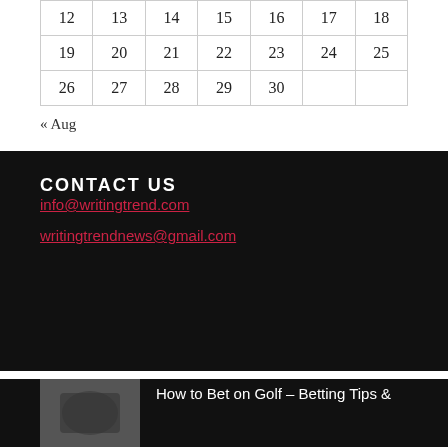| 12 | 13 | 14 | 15 | 16 | 17 | 18 |
| 19 | 20 | 21 | 22 | 23 | 24 | 25 |
| 26 | 27 | 28 | 29 | 30 |  |  |
« Aug
CONTACT US
info@writingtrend.com
writingtrendnews@gmail.com
How to Bet on Golf – Betting Tips &